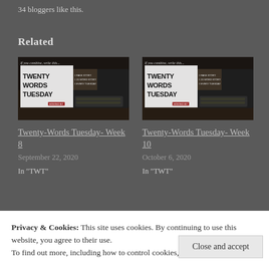34 bloggers like this.
Related
[Figure (photo): Twenty Words Tuesday blog post thumbnail showing a vintage typewriter with bold text reading TWENTY WORDS TUESDAY]
Twenty-Words Tuesday- Week 8
September 22, 2020
In "TWT"
[Figure (photo): Twenty Words Tuesday blog post thumbnail showing a vintage typewriter with bold text reading TWENTY WORDS TUESDAY]
Twenty-Words Tuesday- Week 10
October 6, 2020
In "TWT"
Privacy & Cookies: This site uses cookies. By continuing to use this website, you agree to their use.
To find out more, including how to control cookies, see here: Cookie Policy